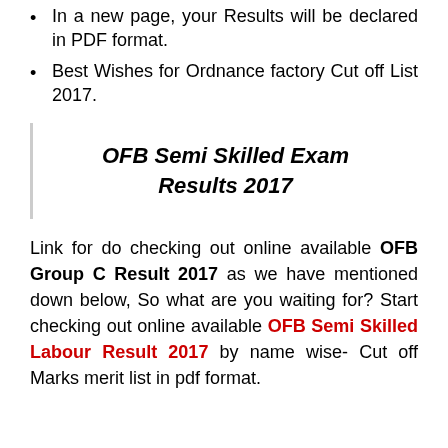In a new page, your Results will be declared in PDF format.
Best Wishes for Ordnance factory Cut off List 2017.
OFB Semi Skilled Exam Results 2017
Link for do checking out online available OFB Group C Result 2017 as we have mentioned down below, So what are you waiting for? Start checking out online available OFB Semi Skilled Labour Result 2017 by name wise- Cut off Marks merit list in pdf format.